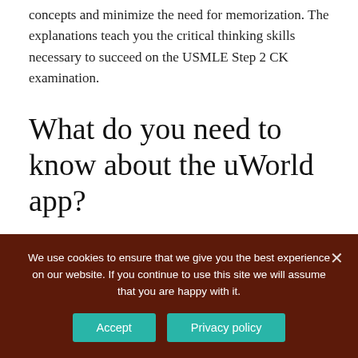concepts and minimize the need for memorization. The explanations teach you the critical thinking skills necessary to succeed on the USMLE Step 2 CK examination.
What do you need to know about the uWorld app?
Please be advised that these are the bare minimum requirements for the app to function properly. The presence of a network firewall (set up by school, work,
We use cookies to ensure that we give you the best experience on our website. If you continue to use this site we will assume that you are happy with it.
Accept
Privacy policy